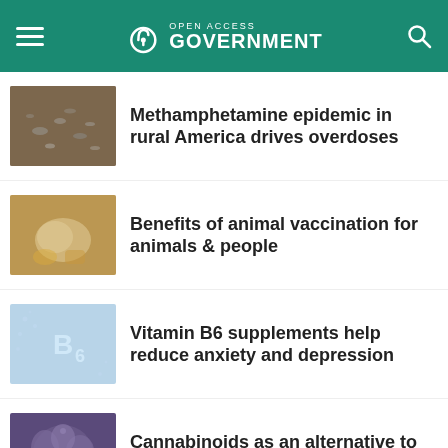Open Access Government
[Figure (photo): Pills and drug paraphernalia on ground - methamphetamine related]
Methamphetamine epidemic in rural America drives overdoses
[Figure (photo): Person vaccinating a sheep or goat - animal vaccination]
Benefits of animal vaccination for animals & people
[Figure (photo): Vitamin B6 text made of pills on blue background]
Vitamin B6 supplements help reduce anxiety and depression
[Figure (photo): Purple cannabis or hemp flowers close-up]
Cannabinoids as an alternative to opioids for chronic pain
[Figure (photo): Colorful pills - Acoustic Cluster Therapy article thumbnail]